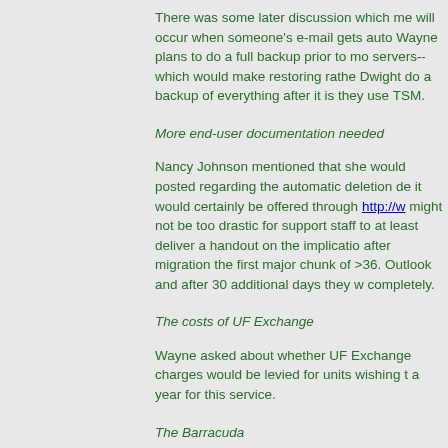There was some later discussion which me will occur when someone's e-mail gets auto Wayne plans to do a full backup prior to mo servers--which would make restoring rathe Dwight do a backup of everything after it is they use TSM.
More end-user documentation needed
Nancy Johnson mentioned that she would posted regarding the automatic deletion de it would certainly be offered through http://w might not be too drastic for support staff to at least deliver a handout on the implicatio after migration the first major chunk of >36. Outlook and after 30 additional days they w completely.
The costs of UF Exchange
Wayne asked about whether UF Exchange charges would be levied for units wishing t a year for this service.
The Barracuda